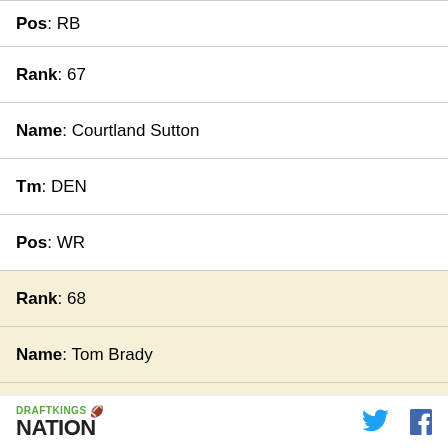Pos : RB
Rank : 67
Name : Courtland Sutton
Tm : DEN
Pos : WR
Rank : 68
Name : Tom Brady
Tm : TB
Pos : QB
Rank : 69
DRAFTKINGS NATION